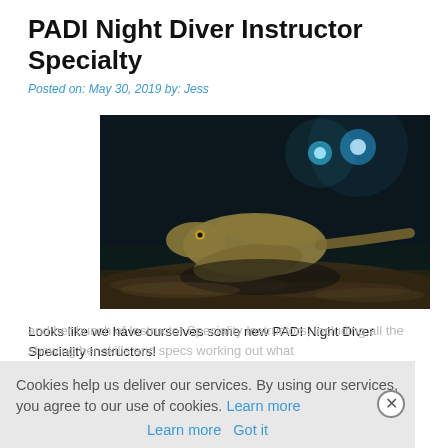PADI Night Diver Instructor Specialty
Posted on: May 30, 2019 by: Jess
[Figure (photo): Underwater night dive photo showing a stingray or guitarfish resting on sandy seabed with two blue dive lights visible in the dark water above.]
Looks like we have ourselves some new PADI Night Diver Speciality Instructors!
Cookies help us deliver our services. By using our services, you agree to our use of cookies. Learn more  Got it